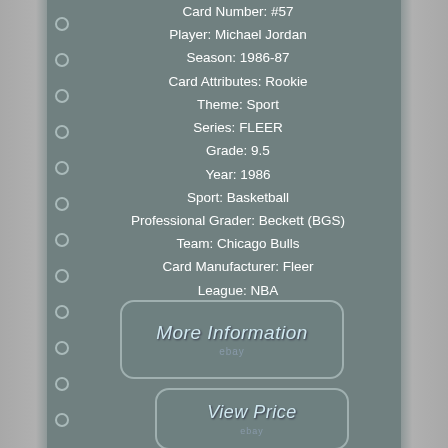Card Number: #57
Player: Michael Jordan
Season: 1986-87
Card Attributes: Rookie
Theme: Sport
Series: FLEER
Grade: 9.5
Year: 1986
Sport: Basketball
Professional Grader: Beckett (BGS)
Team: Chicago Bulls
Card Manufacturer: Fleer
League: NBA
Era: Modern (1970-Now)
Original/Reprint: Original
[Figure (other): More Information button with eBay logo]
[Figure (other): View Price button with eBay logo]